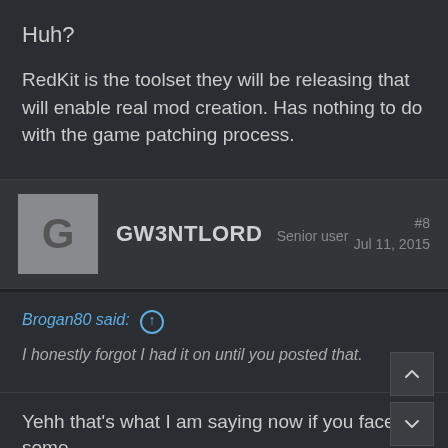Huh?
RedKit is the toolset they will be releasing that will enable real mod creation. Has nothing to do with the game patching process.
GW3NTLORD  Senior user  #8  Jul 11, 2015
Brogan80 said: ↑
I honestly forgot I had it on until you posted that.
Yehh that's what I am saying now if you face some